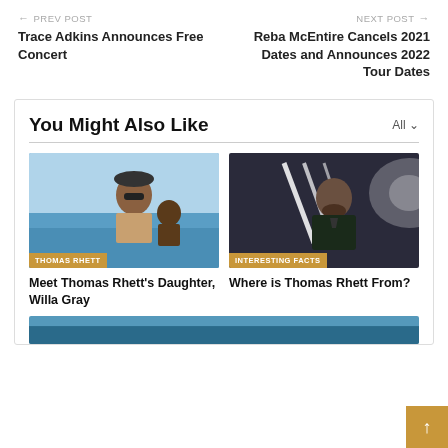← PREV POST | Trace Adkins Announces Free Concert
NEXT POST → | Reba McEntire Cancels 2021 Dates and Announces 2022 Tour Dates
You Might Also Like
[Figure (photo): Thomas Rhett with daughter Willa Gray on a boat with the ocean in background. Tag: THOMAS RHETT]
Meet Thomas Rhett's Daughter, Willa Gray
[Figure (photo): Thomas Rhett standing in front of neon light display. Tag: INTERESTING FACTS]
Where is Thomas Rhett From?
[Figure (photo): Partial view of another article thumbnail at bottom of page]